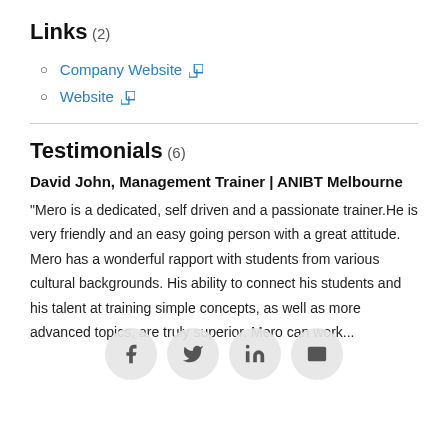Links (2)
Company Website ↗
Website ↗
Testimonials (6)
David John, Management Trainer | ANIBT Melbourne
“Mero is a dedicated, self driven and a passionate trainer.He is very friendly and an easy going person with a great attitude. Mero has a wonderful rapport with students from various cultural backgrounds. His ability to connect his students and his talent at training simple concepts, as well as more advanced topics, are truly superior. Mero can work...